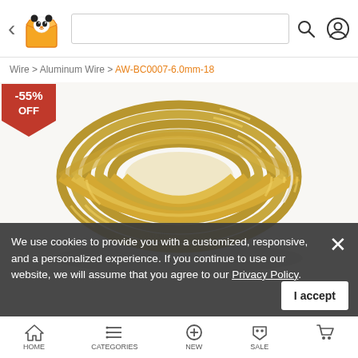[Figure (screenshot): E-commerce mobile app navigation bar with back arrow, panda logo, search box, search icon, and user profile icon]
Wire > Aluminum Wire > AW-BC0007-6.0mm-18
[Figure (other): Red discount badge showing -55% OFF]
[Figure (photo): Coil of gold/brass colored thick aluminum wire, approximately 6.0mm diameter, coiled in a round bundle]
We use cookies to provide you with a customized, responsive, and a personalized experience. If you continue to use our website, we will assume that you agree to our Privacy Policy.
[Figure (screenshot): Bottom navigation bar with HOME, CATEGORIES, NEW, SALE, and CART icons]